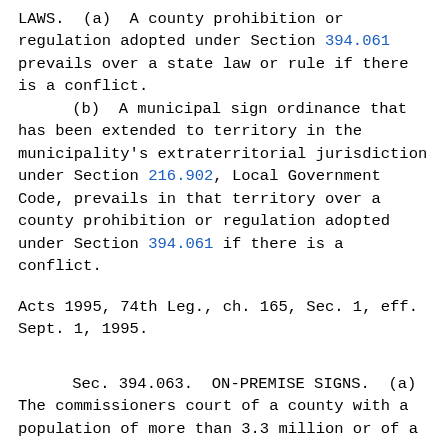LAWS.  (a)  A county prohibition or regulation adopted under Section 394.061 prevails over a state law or rule if there is a conflict.
        (b)  A municipal sign ordinance that has been extended to territory in the municipality's extraterritorial jurisdiction under Section 216.902, Local Government Code, prevails in that territory over a county prohibition or regulation adopted under Section 394.061 if there is a conflict.
Acts 1995, 74th Leg., ch. 165, Sec. 1, eff. Sept. 1, 1995.
Sec. 394.063.  ON-PREMISE SIGNS.  (a) The commissioners court of a county with a population of more than 3.3 million or of a